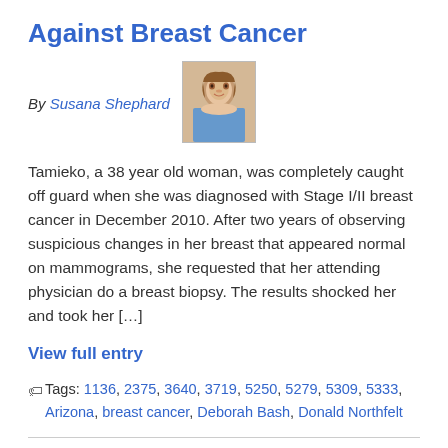Against Breast Cancer
By Susana Shephard
[Figure (photo): Author photo of Susana Shephard]
Tamieko, a 38 year old woman, was completely caught off guard when she was diagnosed with Stage I/II breast cancer in December 2010. After two years of observing suspicious changes in her breast that appeared normal on mammograms, she requested that her attending physician do a breast biopsy. The results shocked her and took her […]
View full entry
Tags: 1136, 2375, 3640, 3719, 5250, 5279, 5309, 5333, Arizona, breast cancer, Deborah Bash, Donald Northfelt
Contact Us · Privacy Policy
version 3.3.6.2.7.6
Page loaded in 0.180 seconds